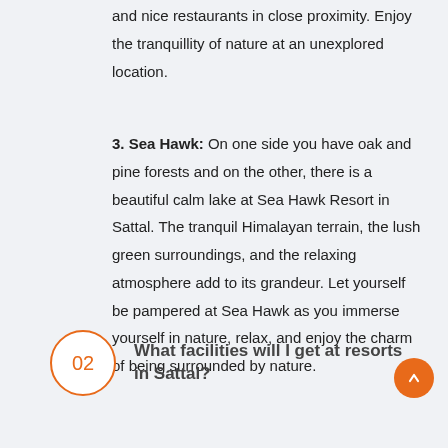and nice restaurants in close proximity. Enjoy the tranquillity of nature at an unexplored location.
3. Sea Hawk: On one side you have oak and pine forests and on the other, there is a beautiful calm lake at Sea Hawk Resort in Sattal. The tranquil Himalayan terrain, the lush green surroundings, and the relaxing atmosphere add to its grandeur. Let yourself be pampered at Sea Hawk as you immerse yourself in nature, relax, and enjoy the charm of being surrounded by nature.
02  What facilities will I get at resorts in Sattal?